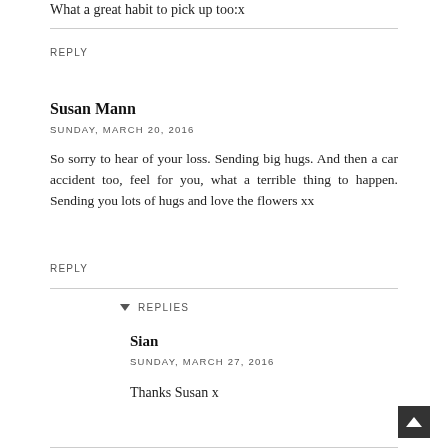What a great habit to pick up too:x
REPLY
Susan Mann
SUNDAY, MARCH 20, 2016
So sorry to hear of your loss. Sending big hugs. And then a car accident too, feel for you, what a terrible thing to happen. Sending you lots of hugs and love the flowers xx
REPLY
REPLIES
Sian
SUNDAY, MARCH 27, 2016
Thanks Susan x